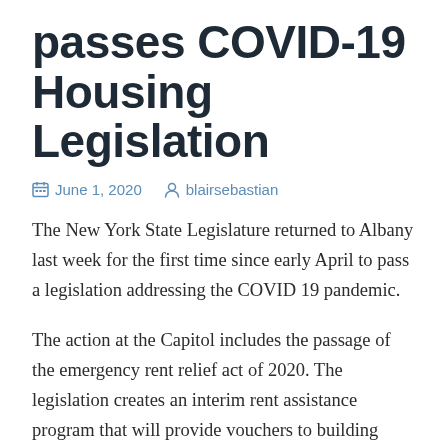passes COVID-19 Housing Legislation
June 1, 2020   blairsebastian
The New York State Legislature returned to Albany last week for the first time since early April to pass a legislation addressing the COVID 19 pandemic.
The action at the Capitol includes the passage of the emergency rent relief act of 2020. The legislation creates an interim rent assistance program that will provide vouchers to building owners on behalf of eligible low income, rent burdened households and will cover the gap between 30% of the household's income and contract rent up to 125% of FMR. To be administered by the Division of